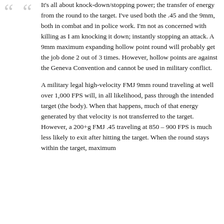It's all about knock-down/stopping power; the transfer of energy from the round to the target. I've used both the .45 and the 9mm, both in combat and in police work. I'm not as concerned with killing as I am knocking it down; instantly stopping an attack. A 9mm maximum expanding hollow point round will probably get the job done 2 out of 3 times. However, hollow points are against the Geneva Convention and cannot be used in military conflict.
A military legal high-velocity FMJ 9mm round traveling at well over 1,000 FPS will, in all likelihood, pass through the intended target (the body). When that happens, much of that energy generated by that velocity is not transferred to the target. However, a 200+g FMJ .45 traveling at 850 – 900 FPS is much less likely to exit after hitting the target. When the round stays within the target, maximum